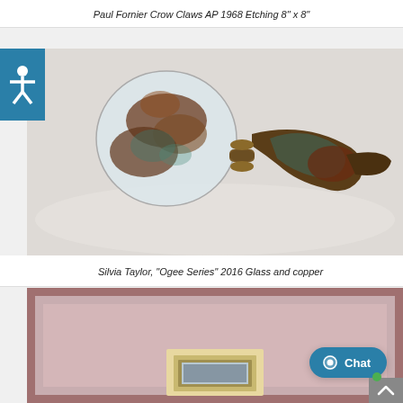Paul Fornier Crow Claws AP 1968 Etching 8" x 8"
[Figure (photo): Photograph of a glass and copper sculpture — a translucent glass globe with brown/rust patina copper claw elements]
Silvia Taylor, "Ogee Series" 2016 Glass and copper
[Figure (photo): Photograph of a framed artwork with pink/mauve matting visible, lower portion cropped]